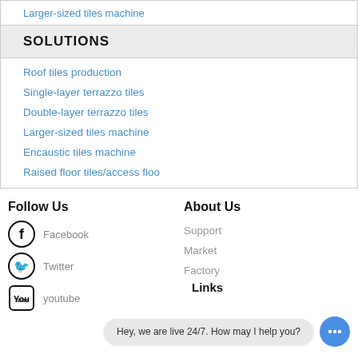Larger-sized tiles machine
SOLUTIONS
Roof tiles production
Single-layer terrazzo tiles
Double-layer terrazzo tiles
Larger-sized tiles machine
Encaustic tiles machine
Raised floor tiles/access floo
Follow Us
Facebook
Twitter
youtube
About Us
Support
Market
Factory
Links
Hey, we are live 24/7. How may I help you?